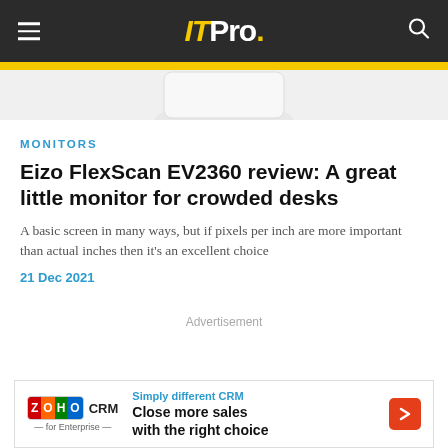ITPro.
[Figure (photo): Partial product image of a monitor on white/light grey background]
MONITORS
Eizo FlexScan EV2360 review: A great little monitor for crowded desks
A basic screen in many ways, but if pixels per inch are more important than actual inches then it's an excellent choice
21 Dec 2021
Advertisement
[Figure (infographic): Zoho CRM advertisement banner: Simply different CRM — Close more sales with the right choice]